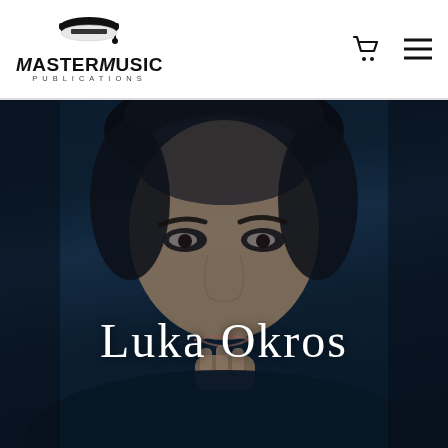MASTER MUSIC PUBLICATIONS
[Figure (photo): Close-up portrait of Luka Okros, a young man with dark hair, looking directly at the camera with one hand raised near his mouth, against a dark teal/navy background.]
Luka Okros